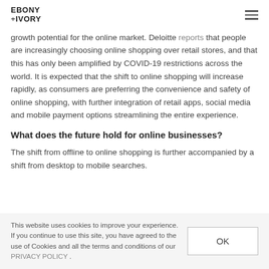EBONY +IVORY
growth potential for the online market. Deloitte reports that people are increasingly choosing online shopping over retail stores, and that this has only been amplified by COVID-19 restrictions across the world. It is expected that the shift to online shopping will increase rapidly, as consumers are preferring the convenience and safety of online shopping, with further integration of retail apps, social media and mobile payment options streamlining the entire experience.
What does the future hold for online businesses?
The shift from offline to online shopping is further accompanied by a shift from desktop to mobile searches.
This website uses cookies to improve your experience. If you continue to use this site, you have agreed to the use of Cookies and all the terms and conditions of our PRIVACY POLICY .